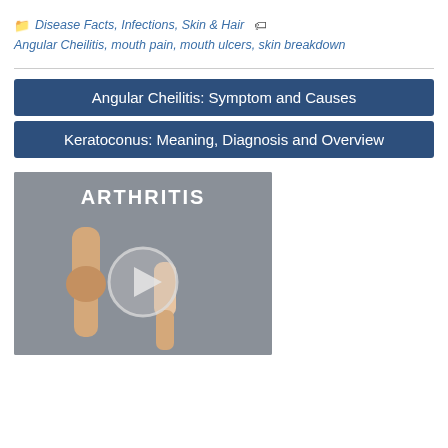Disease Facts, Infections, Skin & Hair  Angular Cheilitis, mouth pain, mouth ulcers, skin breakdown
Angular Cheilitis: Symptom and Causes
Keratoconus: Meaning, Diagnosis and Overview
[Figure (illustration): Video thumbnail showing 'ARTHRITIS' text with an illustration of a knee joint and a play button overlay on a gray background]